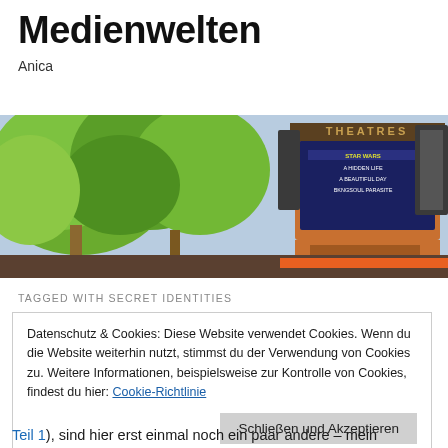Medienwelten
Anica
[Figure (photo): Outdoor photo of a movie theatre marquee sign showing film titles including STAR WARS, A HIDDEN LIFE, A BEAUTIFUL DAY, and PARASITE, surrounded by green trees against a light sky]
TAGGED WITH SECRET IDENTITIES
Datenschutz & Cookies: Diese Website verwendet Cookies. Wenn du die Website weiterhin nutzt, stimmst du der Verwendung von Cookies zu. Weitere Informationen, beispielsweise zur Kontrolle von Cookies, findest du hier: Cookie-Richtlinie
Schließen und Akzeptieren
Teil 1), sind hier erst einmal noch ein paar andere – mein